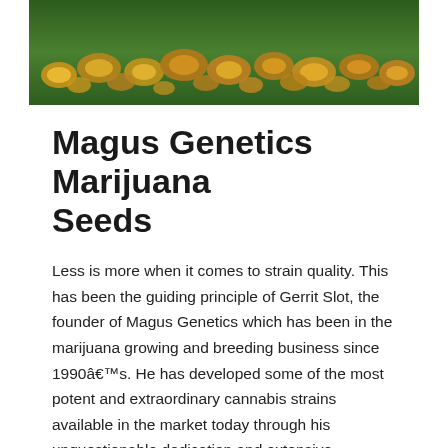[Figure (photo): Banner image showing marijuana seeds/buds on green grass background]
Magus Genetics Marijuana Seeds
Less is more when it comes to strain quality. This has been the guiding principle of Gerrit Slot, the founder of Magus Genetics which has been in the marijuana growing and breeding business since 1990â€™s. He has developed some of the most potent and extraordinary cannabis strains available in the market today through his unquestionable dedication and extensive knowledge and understanding of breeding techniques. His limited knowledge in marijuana breeding during the early years inadvertently led him to produce lots of F1 hybrids. Unlike other big Dutch breeders which create a wide range of varieties, he concentrated on developing only a